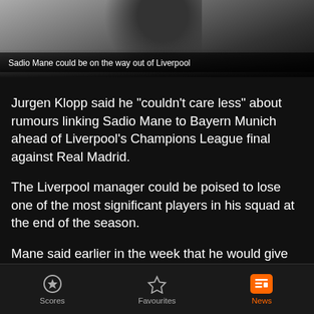[Figure (photo): Photo of Sadio Mane, dark background, silhouette of person visible]
Sadio Mane could be on the way out of Liverpool
Jurgen Klopp said he "couldn't care less" about rumours linking Sadio Mane to Bayern Munich ahead of Liverpool's Champions League final against Real Madrid.
The Liverpool manager could be poised to lose one of the most significant players in his squad at the end of the season.
Mane said earlier in the week that he would give "special" news regarding his future after the European showpiece
Scores  Favourites  News